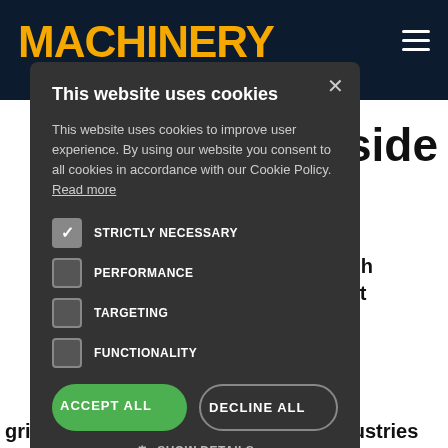MACHINERY
[Figure (screenshot): Cookie consent modal dialog on the Machinery website. The modal has a dark grey background with a white/grey close X button. Title: 'This website uses cookies'. Body text about cookie policy. Four checkboxes: STRICTLY NECESSARY (checked), PERFORMANCE (unchecked), TARGETING (unchecked), FUNCTIONALITY (unchecked). Two buttons: ACCEPT ALL (green) and DECLINE ALL (outlined). SHOW DETAILS link with gear icon at bottom.]
This website uses cookies
This website uses cookies to improve user experience. By using our website you consent to all cookies in accordance with our Cookie Policy. Read more
STRICTLY NECESSARY
PERFORMANCE
TARGETING
FUNCTIONALITY
ACCEPT ALL
DECLINE ALL
SHOW DETAILS
side
ovation
opital and high
development
cutting and
grinding tool materials for global industries